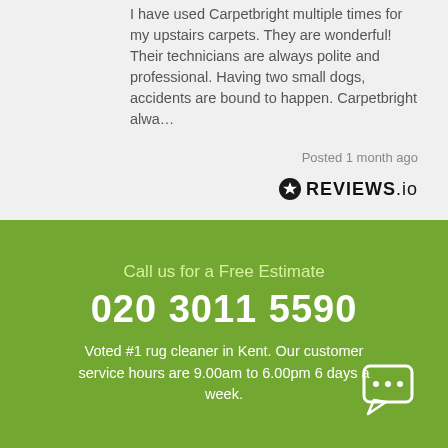I have used Carpetbright multiple times for my upstairs carpets. They are wonderful! Their technicians are always polite and professional. Having two small dogs, accidents are bound to happen. Carpetbright alwa…
Posted 1 month ago
[Figure (logo): Reviews.io logo with star icon and bold wordmark]
Call us for a Free Estimate
020 3011 5590
Voted #1 rug cleaner in Kent. Our customer service hours are 9.00am to 6.00pm 6 days a week.
[Figure (illustration): Chat bubble icon with ellipsis dots]